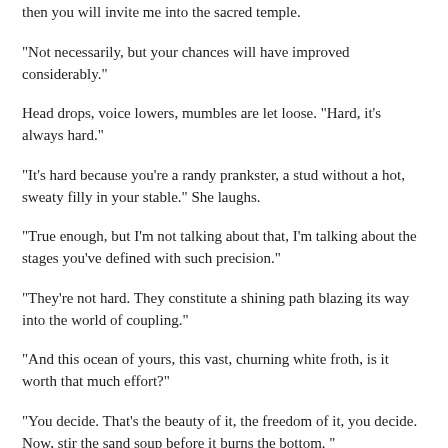then you will invite me into the sacred temple.
"Not necessarily, but your chances will have improved considerably."
Head drops, voice lowers, mumbles are let loose. "Hard, it's always hard."
"It's hard because you're a randy prankster, a stud without a hot, sweaty filly in your stable." She laughs.
"True enough, but I'm not talking about that, I'm talking about the stages you've defined with such precision."
"They're not hard. They constitute a shining path blazing its way into the world of coupling."
"And this ocean of yours, this vast, churning white froth, is it worth that much effort?"
"You decide. That's the beauty of it, the freedom of it, you decide. Now, stir the sand soup before it burns the bottom. "